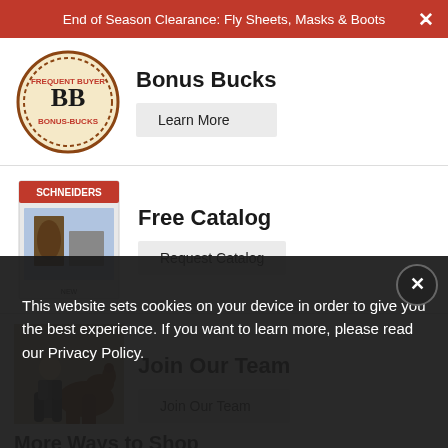End of Season Clearance: Fly Sheets, Masks & Boots
Bonus Bucks
Learn More
Free Catalog
Request Catalog
Join Our Team
Join Our Team
More Ways to Shop
Customer Service
About Schneiders
This website sets cookies on your device in order to give you the best experience. If you want to learn more, please read our Privacy Policy.